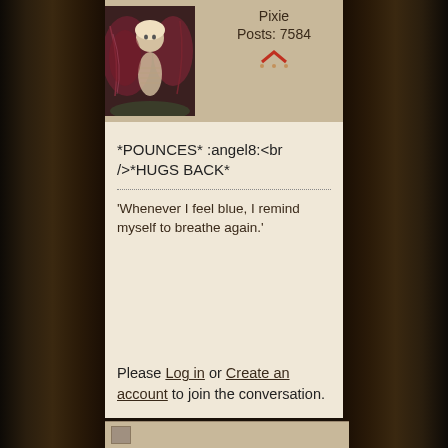[Figure (illustration): A fantasy fairy/angel artwork showing a winged figure with reddish-purple wings against a dark background]
Pixie
Posts: 7584
*POUNCES*  :angel8:<br />*HUGS BACK*
'Whenever I feel blue, I remind myself to breathe again.'
Please Log in or Create an account to join the conversation.